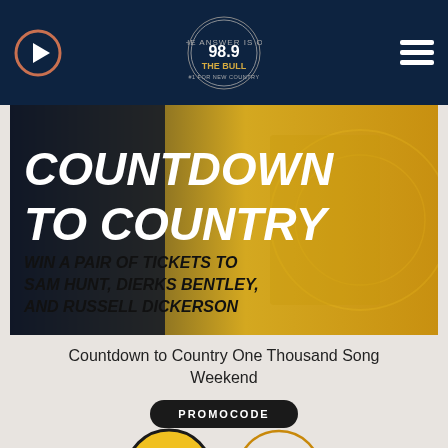98.9 The Bull - #1 For New Country
[Figure (illustration): Countdown to Country promotional banner with yellow/gold and dark background. Large white bold text reads 'COUNTDOWN TO COUNTRY'. Below in black italic bold: 'WIN A PAIR OF TICKETS TO SAM HUNT, DIERKS BENTLEY, AND RUSSELL DICKERSON']
Countdown to Country One Thousand Song Weekend
PROMOCODE
[Figure (logo): Two logos at bottom: left is a circular yellow/dark logo with a bird/lightning bolt silhouette; right is a circular gold outline logo reading 'Midland']